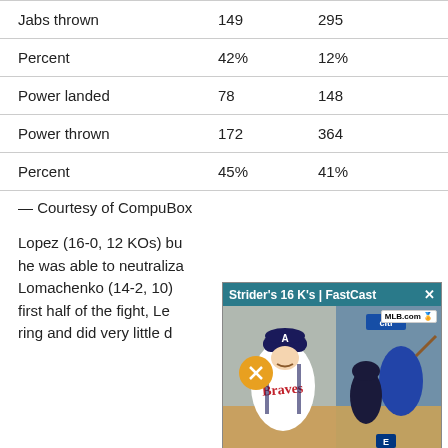|  |  |  |
| --- | --- | --- |
| Jabs thrown | 149 | 295 |
| Percent | 42% | 12% |
| Power landed | 78 | 148 |
| Power thrown | 172 | 364 |
| Percent | 45% | 41% |
— Courtesy of CompuBox
Lopez (16-0, 12 KOs) bu he was able to neutraliza Lomachenko (14-2, 10) first half of the fight, Le ring and did very little d
[Figure (screenshot): Video overlay popup with header 'Strider's 16 K's | FastCast' on teal background with close button, showing baseball players including a Braves pitcher and a batter, MLB.com logo, mute button, and ESPN badge]